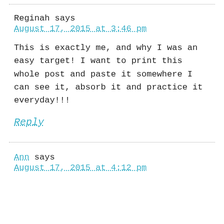Reginah says
August 17, 2015 at 3:46 pm
This is exactly me, and why I was an easy target! I want to print this whole post and paste it somewhere I can see it, absorb it and practice it everyday!!!
Reply
Ann says
August 17, 2015 at 4:12 pm